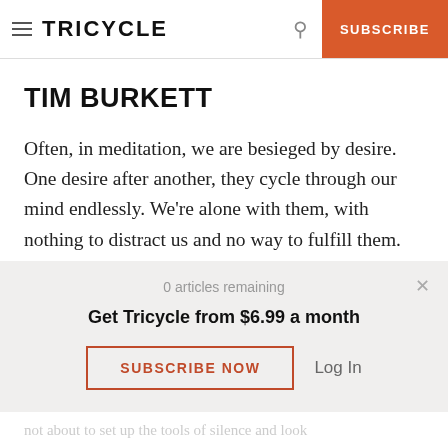TRICYCLE | SUBSCRIBE
TIM BURKETT
Often, in meditation, we are besieged by desire. One desire after another, they cycle through our mind endlessly. We're alone with them, with nothing to distract us and no way to fulfill them. We can only look at the endless parade of desires.
0 articles remaining
Get Tricycle from $6.99 a month
SUBSCRIBE NOW | Log In